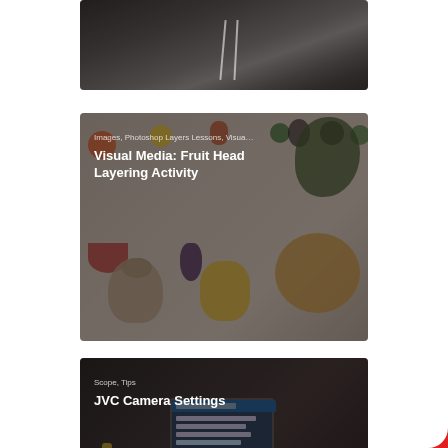[Figure (photo): Aerial or road-level photo of a highway/road at dusk with dark overlay, partially cropped at top]
[Figure (photo): Collage of various fruits and vegetables on a light background with dark overlay. Tags: Images, Photoshop Layers Lessons, Visua...]
Images, Photoshop Layers Lessons, Visua…
Visual Media: Fruit Head Layering Activity
[Figure (photo): Photo of a JVC camera with screen visible showing menu settings, in a dark room. Tags: Scope, Tips]
Scope, Tips
JVC Camera Settings